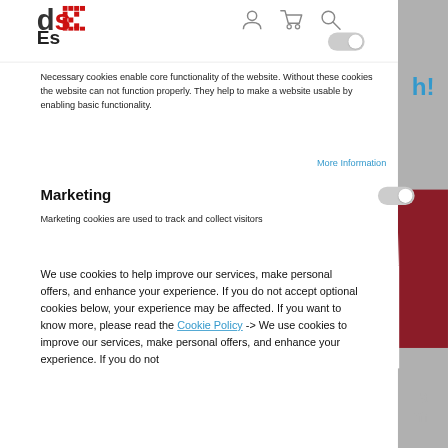[Figure (screenshot): Website header with 'ds' logo (d in gray, s in red with pixel pattern), 'Es' text, user/cart/search icons, and a toggle switch in off position]
Necessary cookies enable core functionality of the website. Without these cookies the website can not function properly. They help to make a website usable by enabling basic functionality.
More Information
Marketing
Marketing cookies are used to track and collect visitors
We use cookies to help improve our services, make personal offers, and enhance your experience. If you do not accept optional cookies below, your experience may be affected. If you want to know more, please read the Cookie Policy -> We use cookies to improve our services, make personal offers, and enhance your experience. If you do not